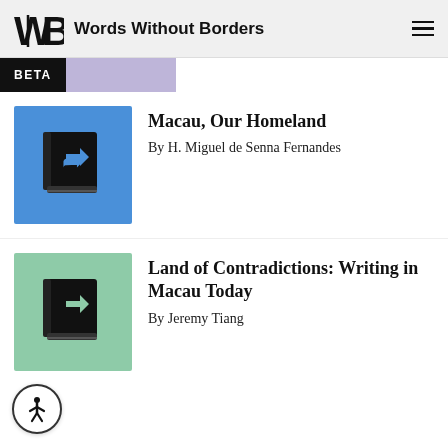Words Without Borders
Macau, Our Homeland
By H. Miguel de Senna Fernandes
[Figure (illustration): Blue book cover icon with share/forward arrow symbol]
Land of Contradictions: Writing in Macau Today
By Jeremy Tiang
[Figure (illustration): Green book cover icon with share/forward arrow symbol]